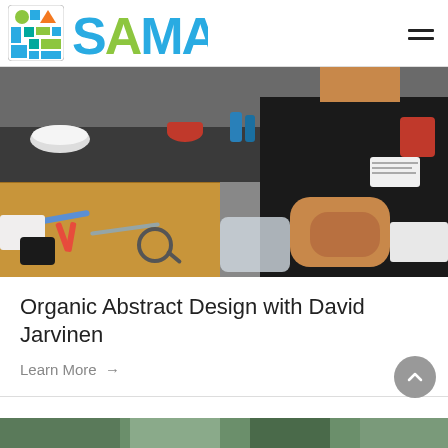SAMA
[Figure (photo): A man in a black t-shirt working at a craft table with scissors, tools, and art supplies in what appears to be an art workshop or classroom setting.]
Organic Abstract Design with David Jarvinen
Learn More →